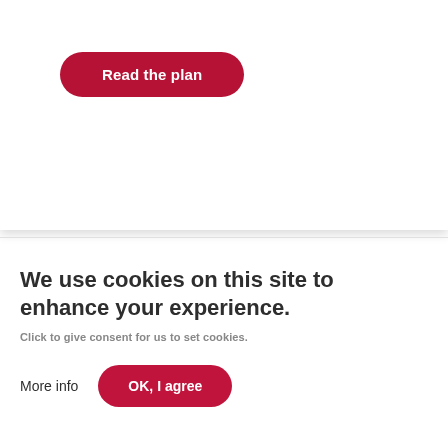[Figure (other): Red pill-shaped button labeled 'Read the plan' on a white card with shadow]
We use cookies on this site to enhance your experience.
Click to give consent for us to set cookies.
More info
[Figure (other): Red pill-shaped button labeled 'OK, I agree']